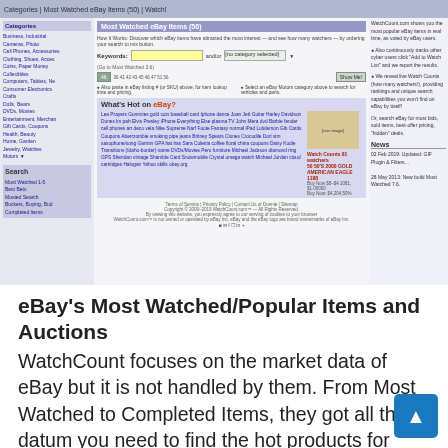[Figure (screenshot): Screenshot of WatchCount.com website showing eBay's Most Watched Items tool with categories sidebar, search interface with keyword input, Most Watched Items section, What's Hot on eBay section with trending searches, News section, and site footer.]
eBay's Most Watched/Popular Items and Auctions
WatchCount focuses on the market data of eBay but it is not handled by them. From Most Watched to Completed Items, they got all the datum you need to find the hot products for dropshipping. furthermore, another positive aspect of this site is that the data is divided into different eBay sites